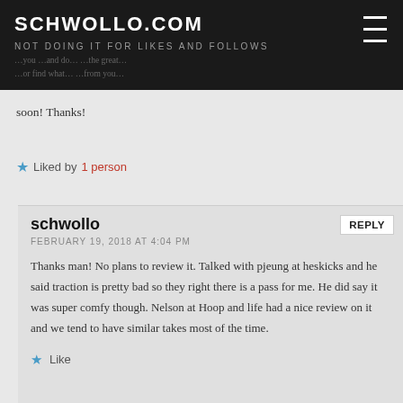SCHWOLLO.COM
NOT DOING IT FOR LIKES AND FOLLOWS
soon! Thanks!
Liked by 1 person
schwollo
FEBRUARY 19, 2018 AT 4:04 PM
Thanks man! No plans to review it. Talked with pjeung at heskicks and he said traction is pretty bad so they right there is a pass for me. He did say it was super comfy though. Nelson at Hoop and life had a nice review on it and we tend to have similar takes most of the time.
Like